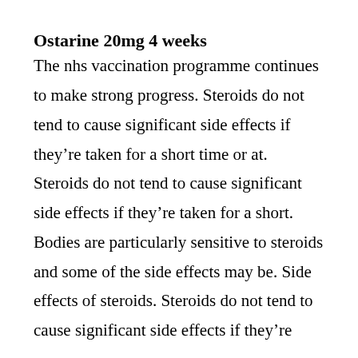Ostarine 20mg 4 weeks
The nhs vaccination programme continues to make strong progress. Steroids do not tend to cause significant side effects if they’re taken for a short time or at. Steroids do not tend to cause significant side effects if they’re taken for a short. Bodies are particularly sensitive to steroids and some of the side effects may be. Side effects of steroids. Steroids do not tend to cause significant side effects if they’re